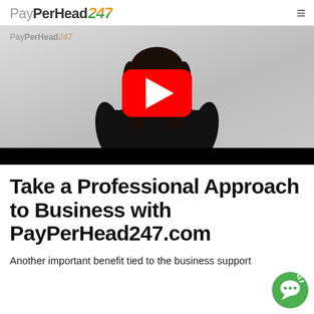PayPerHead247
[Figure (screenshot): Video thumbnail showing a woman in a black top against a light grey background, with a YouTube-style red play button overlay and a PayPerHead247 watermark in the upper left. Black bar at the bottom.]
Take a Professional Approach to Business with PayPerHead247.com
Another important benefit tied to the business support